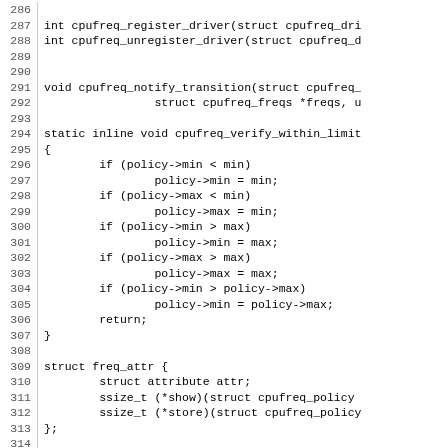Source code listing lines 286-315, showing cpufreq driver registration, notify transition, verify_within_limits, freq_attr struct, and cpufreq_freq_attr_ro macro definitions in C.